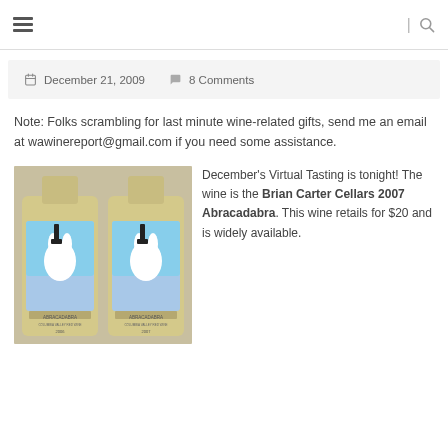≡  |  🔍
📅 December 21, 2009   💬 8 Comments
Note: Folks scrambling for last minute wine-related gifts, send me an email at wawinereport@gmail.com if you need some assistance.
[Figure (photo): Two bottles of Brian Carter Cellars Abracadabra wine side by side — left bottle labeled 2006, right bottle labeled 2007. Both show a white rabbit on the label with the text ABRACADABRA and COLUMBIA VALLEY RED WINE.]
December's Virtual Tasting is tonight! The wine is the Brian Carter Cellars 2007 Abracadabra. This wine retails for $20 and is widely available.